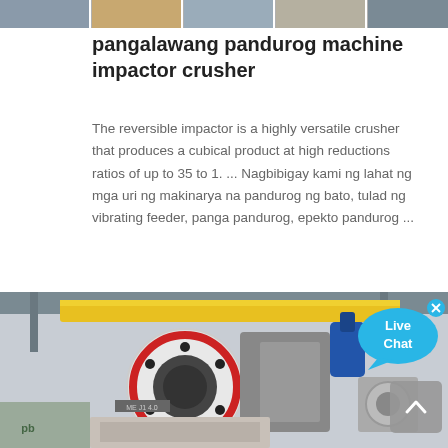[Figure (photo): Strip of small thumbnail images at top of page showing various industrial machinery and equipment]
pangalawang pandurog machine impactor crusher
The reversible impactor is a highly versatile crusher that produces a cubical product at high reductions ratios of up to 35 to 1. ... Nagbibigay kami ng lahat ng mga uri ng makinarya na pandurog ng bato, tulad ng vibrating feeder, panga pandurog, epekto pandurog ...
[Figure (photo): Industrial jaw crusher machine photographed in a factory setting, showing large red and white flywheel, yellow crane beam in background, and machinery components]